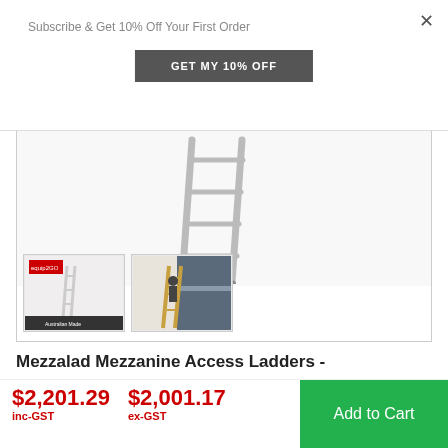Subscribe & Get 10% Off Your First Order
GET MY 10% OFF
[Figure (photo): Aluminum mezzanine access ladder leaning at angle showing rungs, photographed against white background]
[Figure (photo): Thumbnail: equip2GO branded image of ladder with Australian Made logo]
[Figure (photo): Thumbnail: Person climbing mezzanine ladder in warehouse setting]
Mezzalad Mezzanine Access Ladders -
$2,201.29 inc-GST  $2,001.17 ex-GST  Add to Cart